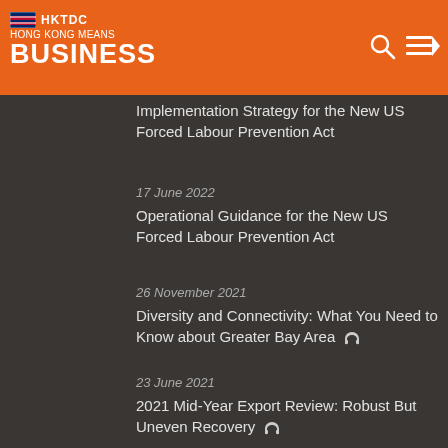HKTDC HONG KONG MEANS BUSINESS
Implementation Strategy for the New US Forced Labour Prevention Act
17 June 2022
Operational Guidance for the New US Forced Labour Prevention Act
26 November 2021
Diversity and Connectivity: What You Need to Know about Greater Bay Area
23 June 2021
2021 Mid-Year Export Review: Robust But Uneven Recovery